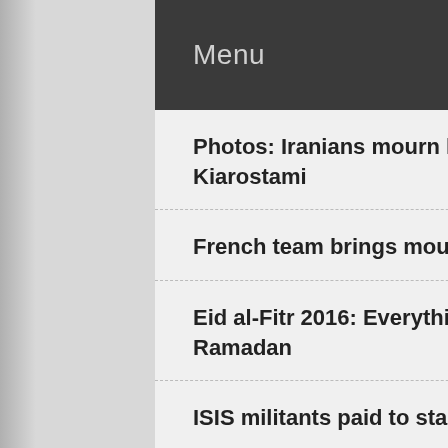Menu
Photos: Iranians mourn loss of acclaimed filmmaker Abbas Kiarostami
French team brings mountain diplomacy to Iran
Eid al-Fitr 2016: Everything you need to know about the end of Ramadan
ISIS militants paid to stage bomb attacks in Tehran
Iran cinema: Abbas Kiarostami, award-winning film director, dies at 76
Istanbul airport terror attack requires a prompt International action
Iran ranks first in aerospace in Middle East, 11th in world
Germany's Lufthansa to launch service between Munich and Tehran 'Today'